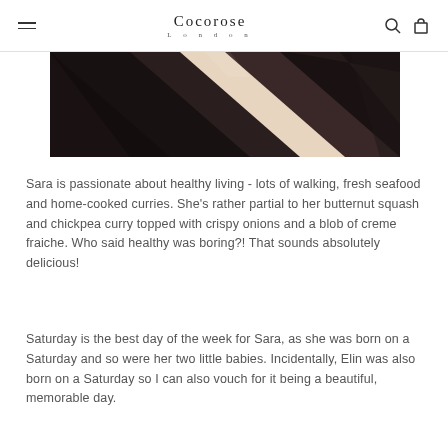Cocorose London
[Figure (photo): Close-up photo of dark brown/black diagonal stripes with a light beige stripe, appearing to be leather or fabric material on a white background.]
Sara is passionate about healthy living - lots of walking, fresh seafood and home-cooked curries. She's rather partial to her butternut squash and chickpea curry topped with crispy onions and a blob of creme fraiche. Who said healthy was boring?! That sounds absolutely delicious!
Saturday is the best day of the week for Sara, as she was born on a Saturday and so were her two little babies. Incidentally, Elin was also born on a Saturday so I can also vouch for it being a beautiful, memorable day.